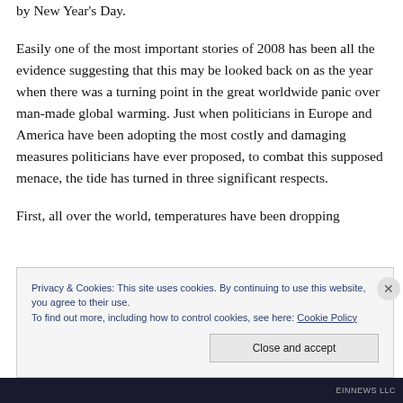by New Year's Day.
Easily one of the most important stories of 2008 has been all the evidence suggesting that this may be looked back on as the year when there was a turning point in the great worldwide panic over man-made global warming. Just when politicians in Europe and America have been adopting the most costly and damaging measures politicians have ever proposed, to combat this supposed menace, the tide has turned in three significant respects.
First, all over the world, temperatures have been dropping
Privacy & Cookies: This site uses cookies. By continuing to use this website, you agree to their use.
To find out more, including how to control cookies, see here: Cookie Policy
Close and accept